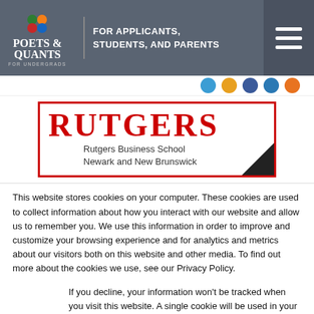[Figure (logo): Poets & Quants For Undergrads logo with tagline 'FOR APPLICANTS, STUDENTS, AND PARENTS' on grey header bar with hamburger menu]
[Figure (logo): Rutgers Business School Newark and New Brunswick logo banner with red border and black corner triangle]
This website stores cookies on your computer. These cookies are used to collect information about how you interact with our website and allow us to remember you. We use this information in order to improve and customize your browsing experience and for analytics and metrics about our visitors both on this website and other media. To find out more about the cookies we use, see our Privacy Policy.
If you decline, your information won't be tracked when you visit this website. A single cookie will be used in your browser to remember your preference not to be tracked.